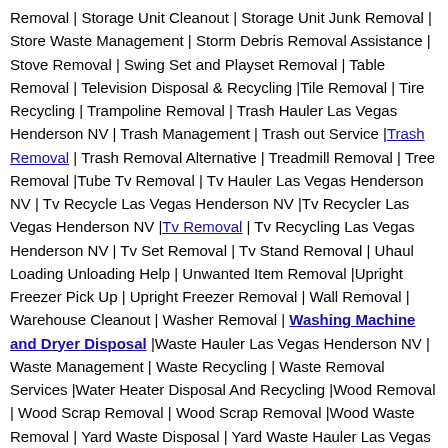Removal | Storage Unit Cleanout | Storage Unit Junk Removal | Store Waste Management | Storm Debris Removal Assistance | Stove Removal | Swing Set and Playset Removal | Table Removal | Television Disposal & Recycling |Tile Removal | Tire Recycling | Trampoline Removal | Trash Hauler Las Vegas Henderson NV | Trash Management | Trash out Service |Trash Removal | Trash Removal Alternative | Treadmill Removal | Tree Removal |Tube Tv Removal | Tv Hauler Las Vegas Henderson NV | Tv Recycle Las Vegas Henderson NV |Tv Recycler Las Vegas Henderson NV |Tv Removal | Tv Recycling Las Vegas Henderson NV | Tv Set Removal | Tv Stand Removal | Uhaul Loading Unloading Help | Unwanted Item Removal |Upright Freezer Pick Up | Upright Freezer Removal | Wall Removal | Warehouse Cleanout | Washer Removal | Washing Machine and Dryer Disposal |Waste Hauler Las Vegas Henderson NV | Waste Management | Waste Recycling | Waste Removal Services |Water Heater Disposal And Recycling |Wood Removal | Wood Scrap Removal | Wood Scrap Removal |Wood Waste Removal | Yard Waste Disposal | Yard Waste Hauler Las Vegas Henderson NV | Yard Waste Removal Henderson Las Vegas Nevada